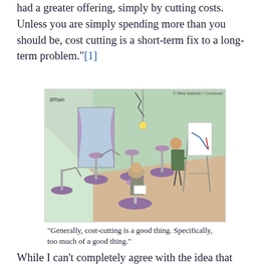had a greater offering, simply by cutting costs. Unless you are simply spending more than you should be, cost cutting is a short-term fix to a long-term problem."[1]
[Figure (illustration): A comic cartoon showing a business meeting room where chairs have been replaced by mechanical devices (robotic arms holding seats), with one person standing at an easel showing a declining chart and another person seated using one of the mechanical chair substitutes. Caption reads: 'Generally, cost-cutting is a good thing. Specifically, too much of a good thing.' Credit: Mike Baldwin / Cornered.]
“Generally, cost-cutting is a good thing. Specifically, too much of a good thing.”
While I can’t completely agree with the idea that cutting